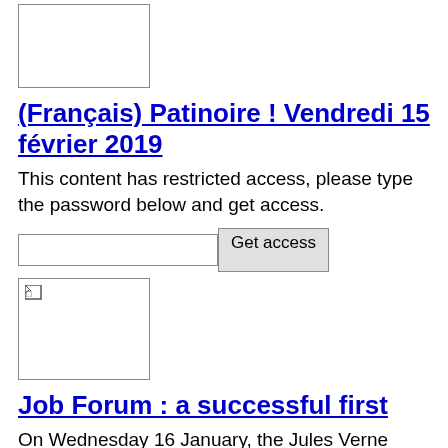[Figure (illustration): Rectangular image placeholder, white with border]
(Français) Patinoire ! Vendredi 15 février 2019
This content has restricted access, please type the password below and get access.
[Figure (illustration): Rectangular image placeholder with broken image icon, white with border]
Job Forum : a successful first
On Wednesday 16 January, the Jules Verne school organised its first Job Forum. At the Stabu iela site, some fifteen professionals came to present their profession to students from 5e, 4e and 3e.